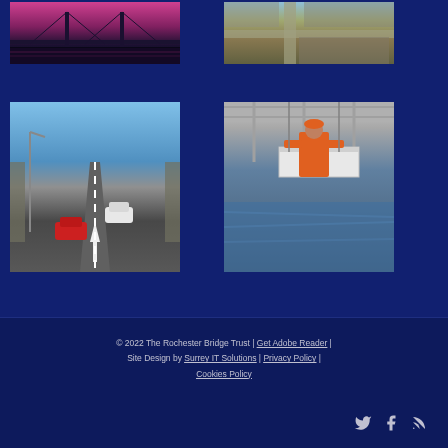[Figure (photo): Bridge at night with pink/purple sky reflected in water]
[Figure (photo): Aerial view of town with road intersection]
[Figure (photo): Road traffic on bridge with cars including red car in foreground]
[Figure (photo): Worker in orange safety suit on suspended platform under bridge]
© 2022 The Rochester Bridge Trust | Get Adobe Reader | Site Design by Surrey IT Solutions | Privacy Policy | Cookies Policy